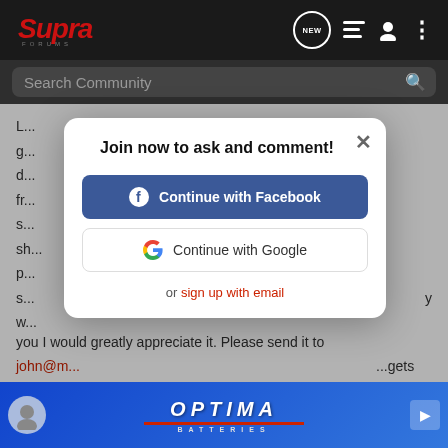[Figure (screenshot): Supra Forums website navigation bar with logo, NEW chat bubble, list icon, user icon, and more options dots]
[Figure (screenshot): Search Community bar with magnifying glass icon]
L... g... d... fr... s... sh... p... s... y w...
you I would greatly appreciate it. Please send it to
john@m...
...gets started t... ...here is
[Figure (screenshot): Modal dialog: Join now to ask and comment! with Continue with Facebook button, Continue with Google button, or sign up with email link, and X close button]
[Figure (screenshot): Optima Batteries advertisement banner at bottom]